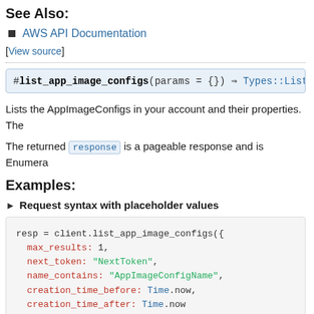See Also:
AWS API Documentation
[View source]
#list_app_image_configs(params = {}) ⇒ Types::ListA
Lists the AppImageConfigs in your account and their properties. The
The returned response is a pageable response and is Enumera
Examples:
▶ Request syntax with placeholder values
resp = client.list_app_image_configs({
  max_results: 1,
  next_token: "NextToken",
  name_contains: "AppImageConfigName",
  creation_time_before: Time.now,
  creation_time_after: Time.now